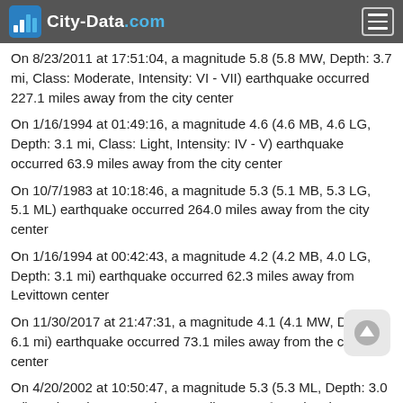City-Data.com
On 8/23/2011 at 17:51:04, a magnitude 5.8 (5.8 MW, Depth: 3.7 mi, Class: Moderate, Intensity: VI - VII) earthquake occurred 227.1 miles away from the city center
On 1/16/1994 at 01:49:16, a magnitude 4.6 (4.6 MB, 4.6 LG, Depth: 3.1 mi, Class: Light, Intensity: IV - V) earthquake occurred 63.9 miles away from the city center
On 10/7/1983 at 10:18:46, a magnitude 5.3 (5.1 MB, 5.3 LG, 5.1 ML) earthquake occurred 264.0 miles away from the city center
On 1/16/1994 at 00:42:43, a magnitude 4.2 (4.2 MB, 4.0 LG, Depth: 3.1 mi) earthquake occurred 62.3 miles away from Levittown center
On 11/30/2017 at 21:47:31, a magnitude 4.1 (4.1 MW, Depth: 6.1 mi) earthquake occurred 73.1 miles away from the city center
On 4/20/2002 at 10:50:47, a magnitude 5.3 (5.3 ML, Depth: 3.0 mi) earthquake occurred 307.1 miles away from the city center
Magnitude types: regional Lg-wave magnitude (LG), body-wave magnitude (MB), local magnitude (ML), moment magnitude (MW)